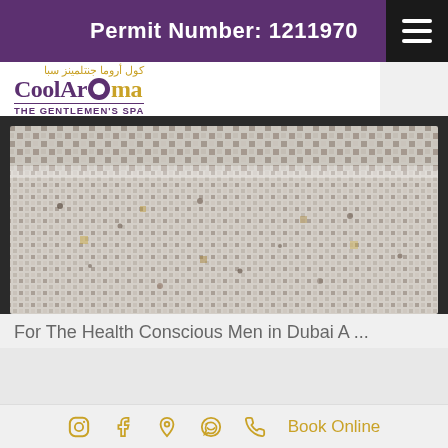Permit Number: 1211970
[Figure (logo): CoolAroma The Gentlemen's Spa logo with Arabic text above]
[Figure (photo): Mosaic tiled spa bath/tub interior with speckled pattern]
For The Health Conscious Men in Dubai A ...
BODY SCRUBS
[Figure (infographic): Google Rating widget showing 4.1 stars out of 5 with a green bar at top]
Instagram  Facebook  Location  WhatsApp  Phone  Book Online